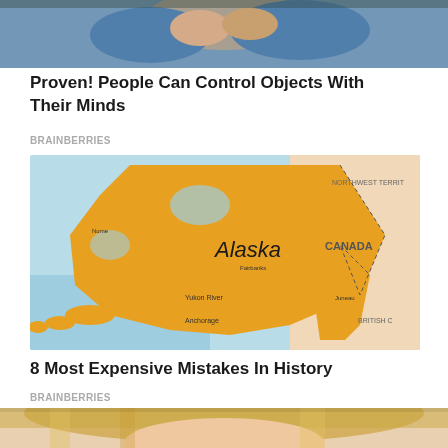[Figure (photo): Top portion of a person in a blue knitted sweater holding something, cropped at top of page]
Proven! People Can Control Objects With Their Minds
BRAINBERRIES
[Figure (map): Map of Alaska and surrounding regions including Canada, showing the state of Alaska highlighted in orange/yellow with geographic labels]
8 Most Expensive Mistakes In History
BRAINBERRIES
[Figure (photo): Bottom portion of a blonde woman's face, partially visible at the bottom of the page]